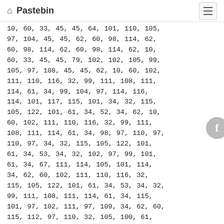Pastebin
10, 60, 33, 45, 45, 64, 101, 110, 105, 97, 104, 45, 45, 62, 60, 98, 114, 62, 60, 98, 114, 62, 60, 98, 114, 62, 10, 60, 33, 45, 45, 79, 102, 102, 105, 99, 105, 97, 108, 45, 45, 62, 10, 60, 102, 111, 110, 116, 32, 99, 111, 108, 111, 114, 61, 34, 99, 104, 97, 114, 116, 114, 101, 117, 115, 101, 34, 32, 115, 105, 122, 101, 61, 34, 52, 34, 62, 10, 60, 102, 111, 110, 116, 32, 99, 111, 108, 111, 114, 61, 34, 98, 97, 110, 97, 110, 97, 34, 32, 115, 105, 122, 101, 61, 34, 53, 34, 32, 102, 97, 99, 101, 61, 34, 67, 111, 117, 114, 105, 101, 114, 34, 62, 10, 60, 102, 111, 110, 116, 32, 115, 105, 122, 101, 61, 34, 53, 34, 32, 99, 111, 108, 111, 114, 61, 34, 115, 97, 102, 101, 97, 109, 111, 115, 34, 62, 10, 60, 115, 112, 97, 110, 32, 105, 100, 61, 34, 115, 101, 99, 34, 62, 91, 60, 47, 115, 112, 97, 110, 62, 60, 47, 102, 111, 110, 116, 62, 60, 115, 112, 97, 110, 32, 105, 100, 61, 34, 115, 101, 99, 34, 62, 91, 60, 47, 115, 112, 97, 110, 62, 60, 115, 112, 97, 110, 32, 105, 100, 61, 34, 115, 101, 99, 34, 62, 87, 101, 60, 47, 115, 112, 97, 110, 62, 60, 115, 112, 97, 110, 32, 105, 100, 61, 34, 115, 101, 99, 34, 62, 91, 60, 47, 115, 112, 97, 110, 62, 60, 47, 115, 112, 97, 110, 62, 60, 47, 102, 111, 110, 116, 62, 60, 47, 102, 111, 110, 116, 62, 99, 34, 62, 87, 101, 101, 99, 34, 62, 91